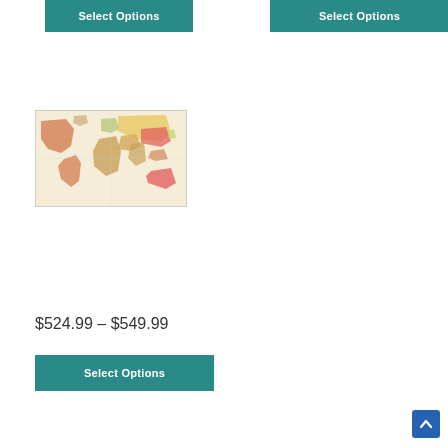[Figure (other): Select Options button (teal) top left]
[Figure (other): Select Options button (teal) top right]
[Figure (map): World map image showing countries in warm colors (orange, red, green) on beige background]
$524.99 – $549.99
[Figure (other): Select Options button (teal)]